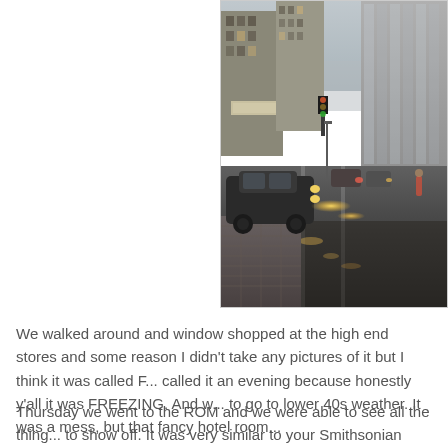[Figure (photo): A rainy urban street scene showing a downtown intersection with tall office buildings, a car on a wet road with reflections, wet sidewalk/curb stones in the foreground, and overcast grey sky. Appears to be a Canadian city (Toronto).]
We walked around and window shopped at the high end stores and some reason I didn't take any pictures of it but I think it was called F... called it an evening because honestly y'all it was FREEZING. And w... to go to lower 40s weather. It was a mess, but that fancy hotel room...
Thursday we went to the ROM and we were able to see all the thing... to show off. It was very similar to your Smithsonian museum full...